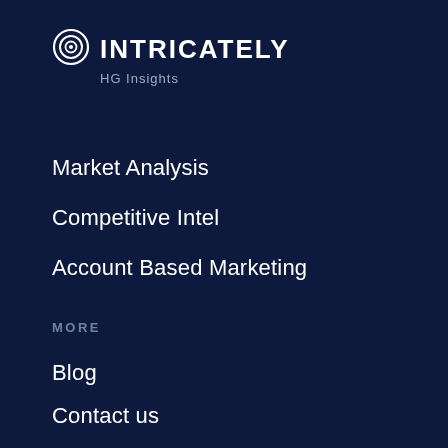[Figure (logo): Intricately HG Insights logo with circular target icon and text]
Market Analysis
Competitive Intel
Account Based Marketing
MORE
Blog
Contact us
FAQ
App Status
Careers
Cloud Glossary
ABM Glossary